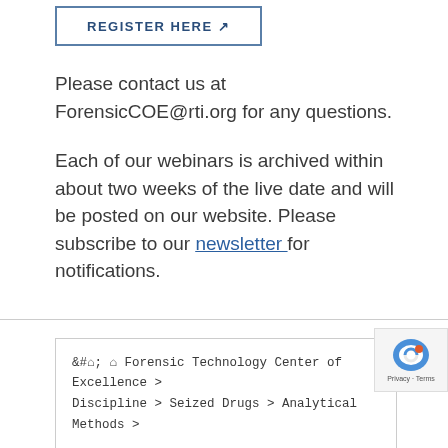[Figure (other): Register Here button with external link icon, bordered box]
Please contact us at ForensicCOE@rti.org for any questions.
Each of our webinars is archived within about two weeks of the live date and will be posted on our website. Please subscribe to our newsletter for notifications.
Forensic Technology Center of Excellence > Discipline > Seized Drugs > Analytical Methods >